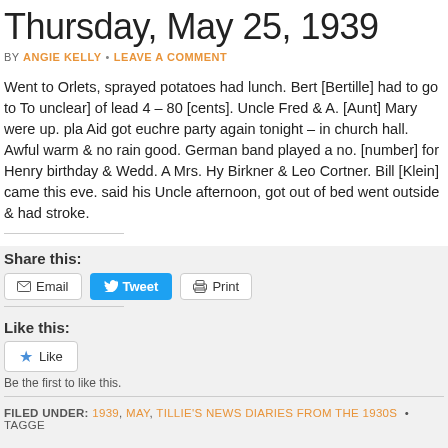Thursday, May 25, 1939
BY ANGIE KELLY • LEAVE A COMMENT
Went to Orlets, sprayed potatoes had lunch. Bert [Bertille] had to go to To unclear] of lead 4 – 80 [cents]. Uncle Fred & A. [Aunt] Mary were up. pla Aid got euchre party again tonight – in church hall. Awful warm & no rain good. German band played a no. [number] for Henry birthday & Wedd. A Mrs. Hy Birkner & Leo Cortner. Bill [Klein] came this eve. said his Uncle afternoon, got out of bed went outside & had stroke.
Share this:
Email   Tweet   Print
Like this:
Like
Be the first to like this.
FILED UNDER: 1939, MAY, TILLIE'S NEWS DIARIES FROM THE 1930S • TAGGE